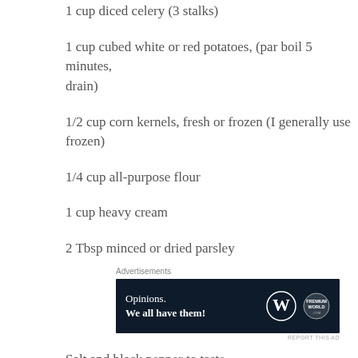1 cup diced celery (3 stalks)
1 cup cubed white or red potatoes, (par boil 5 minutes, drain)
1/2 cup corn kernels, fresh or frozen (I generally use frozen)
1/4 cup all-purpose flour
1 cup heavy cream
2 Tbsp minced or dried parsley
[Figure (other): WordPress advertisement banner: 'Opinions. We all have them!' with WordPress and FreemiumWorld logos on dark navy background]
Salt and black pepper to taste